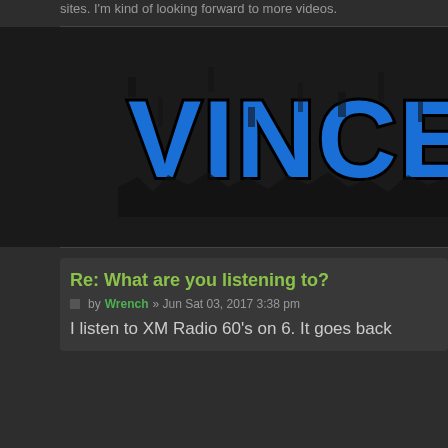sites. I'm kind of looking forward to more videos.
[Figure (logo): Blue grunge-style text logo reading 'VINCENT' on dark background, partially cropped on right side]
Re: What are you listening to?
by Wrench » Jun Sat 03, 2017 3:38 pm
I listen to XM Radio 60's on 6. It goes back